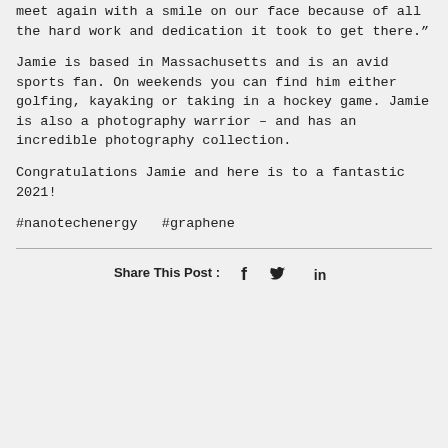meet again with a smile on our face because of all the hard work and dedication it took to get there.”
Jamie is based in Massachusetts and is an avid sports fan. On weekends you can find him either golfing, kayaking or taking in a hockey game. Jamie is also a photography warrior – and has an incredible photography collection.
Congratulations Jamie and here is to a fantastic 2021!
#nanotechenergy  #graphene
Share This Post :